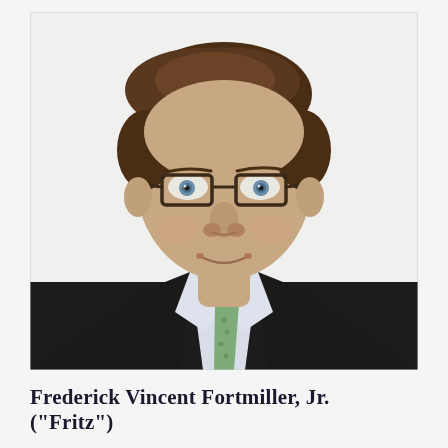[Figure (photo): Professional headshot of a man wearing glasses, dark suit jacket, light blue dress shirt, and green patterned tie. He has brown hair and light eyes, smiling slightly against a white background.]
Frederick Vincent Fortmiller, Jr. ("Fritz")